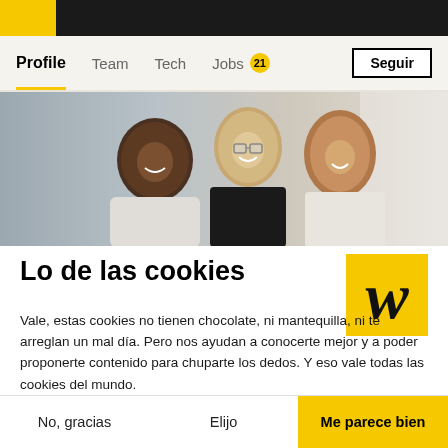[Figure (screenshot): Dark top navigation banner with yellow logo icon]
Profile   Team   Tech   Jobs 21
[Figure (photo): Three smiling people sitting together in an office environment — a Black man on the left, a blonde woman with glasses in the center, and a curly-haired woman on the right]
Lo de las cookies
[Figure (logo): Yellow square with black stylized W letter logo]
Vale, estas cookies no tienen chocolate, ni mantequilla, ni te arreglan un mal día. Pero nos ayudan a conocerte mejor y a poder proponerte contenido para chuparte los dedos. Y eso vale todas las cookies del mundo.
Los consentimientos certificados por  axeptio
No, gracias
Elijo
Me parece bien